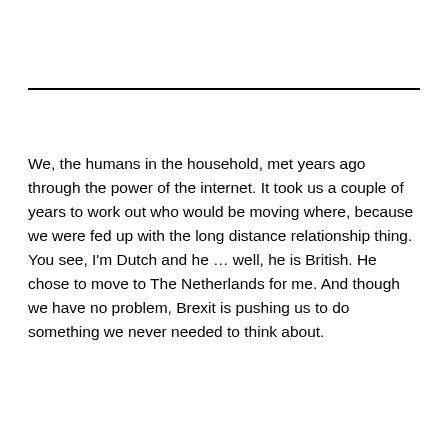We, the humans in the household, met years ago through the power of the internet. It took us a couple of years to work out who would be moving where, because we were fed up with the long distance relationship thing. You see, I'm Dutch and he … well, he is British. He chose to move to The Netherlands for me. And though we have no problem, Brexit is pushing us to do something we never needed to think about.